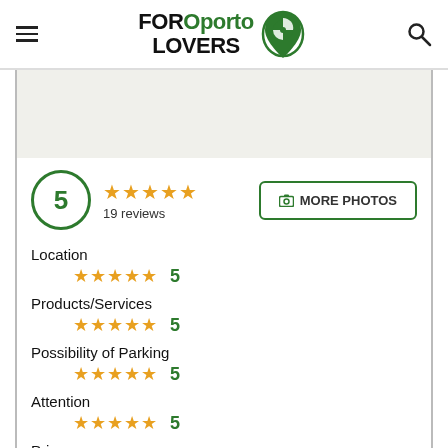FOROperto LOVERS
[Figure (logo): FOROperto LOVERS logo with green location pin icon]
5 ★★★★★ 19 reviews
MORE PHOTOS
Location ★★★★★ 5
Products/Services ★★★★★ 5
Possibility of Parking ★★★★★ 5
Attention ★★★★★ 5
Prices